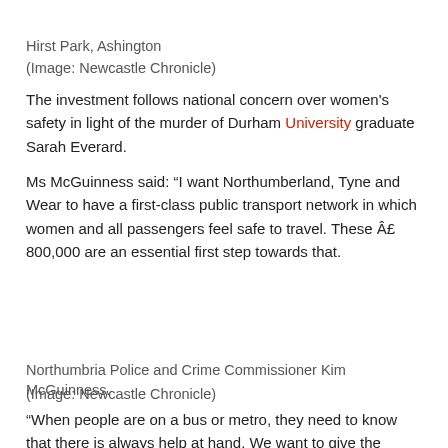Hirst Park, Ashington
(Image: Newcastle Chronicle)
The investment follows national concern over women's safety in light of the murder of Durham University graduate Sarah Everard.
Ms McGuinness said: “I want Northumberland, Tyne and Wear to have a first-class public transport network in which women and all passengers feel safe to travel. These £ 800,000 are an essential first step towards that.
Northumbria Police and Crime Commissioner Kim McGuinness.
(Image: Newcastle Chronicle)
“When people are on a bus or metro, they need to know that there is always help at hand. We want to give the reporting of anti-social behaviour an easy route and the tools it requires for change.